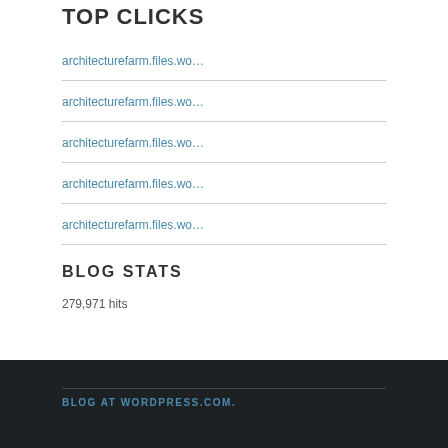TOP CLICKS
architecturefarm.files.wo…
architecturefarm.files.wo…
architecturefarm.files.wo…
architecturefarm.files.wo…
architecturefarm.files.wo…
BLOG STATS
279,971 hits
BLOG AT WORDPRESS.COM.